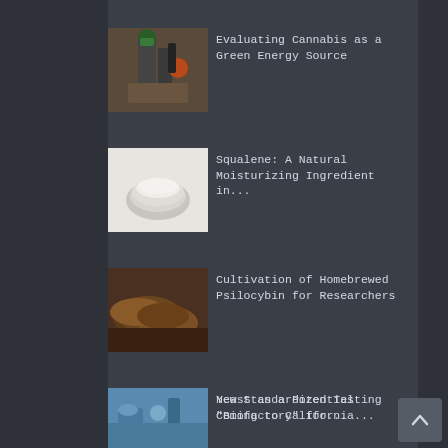[Figure (photo): Laboratory equipment with green hose/nozzle]
Evaluating Cannabis as a Green Energy Source
[Figure (photo): Cosmetic cream jar/moisturizer container]
Squalene: A Natural Moisturizing Ingredient in...
[Figure (photo): Closeup of mushrooms]
Cultivation of Homebrewed Psilocybin for Researchers
[Figure (photo): Petri dish with bacterial culture]
Yeast as a Potential “Biofactory” for...
[Figure (photo): Scientist with microscope and green flask]
New Standardized Testing Coming to California...